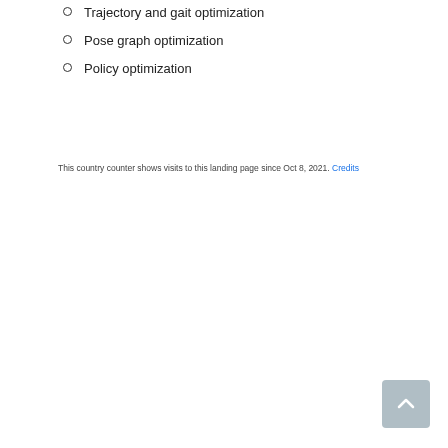Trajectory and gait optimization
Pose graph optimization
Policy optimization
This country counter shows visits to this landing page since Oct 8, 2021. Credits